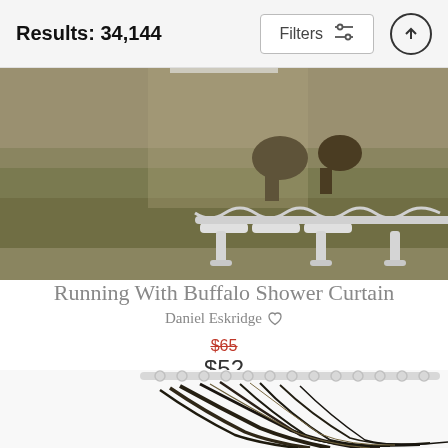Results: 34,144
Filters
[Figure (photo): Shower curtain product photo showing buffalo running in a grass field, displayed on a white bath rack stand]
Running With Buffalo Shower Curtain
Daniel Eskridge ♡
$65 (strikethrough original price) $52 (sale price)
[Figure (photo): Bottom of next shower curtain product showing dark feathers or buffalo hair flowing, with white curtain rod and rings visible at top]